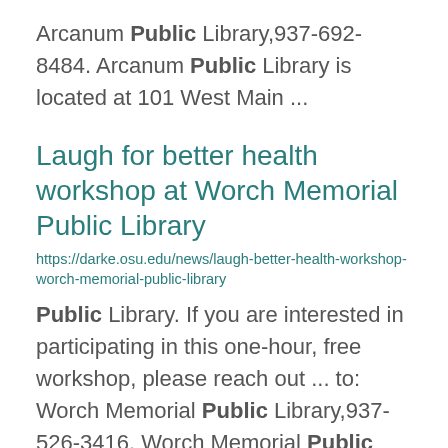Arcanum Public Library,937-692-8484. Arcanum Public Library is located at 101 West Main ...
Laugh for better health workshop at Worch Memorial Public Library
https://darke.osu.edu/news/laugh-better-health-workshop-worch-memorial-public-library
Public Library. If you are interested in participating in this one-hour, free workshop, please reach out ... to:  Worch Memorial Public Library,937-526-3416. Worch Memorial Public Library is located at 790 ...